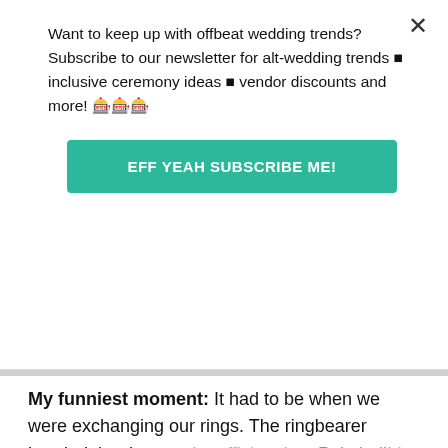Want to keep up with offbeat wedding trends?Subscribe to our newsletter for alt-wedding trends • inclusive ceremony ideas • vendor discounts and more! 🎉🎊🎈
EFF YEAH SUBSCRIBE ME!
[Figure (photo): White/light gray photo area, mostly blank]
My funniest moment: It had to be when we were exchanging our rings. The ringbearer handed the rings to the officiant in a Pokeball! I couldn't help but crack a big smile when I saw the officiant open the Pokeball with the